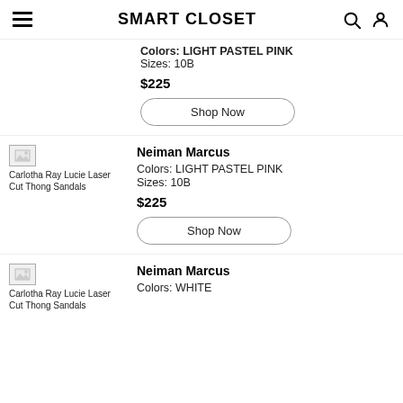SMART CLOSET
Colors: LIGHT PASTEL PINK
Sizes: 10B
$225
Shop Now
[Figure (photo): Carlotha Ray Lucie Laser Cut Thong Sandals product image (broken/loading)]
Neiman Marcus
Colors: LIGHT PASTEL PINK
Sizes: 10B
$225
Shop Now
[Figure (photo): Carlotha Ray Lucie Laser Cut Thong Sandals product image (broken/loading)]
Neiman Marcus
Colors: WHITE